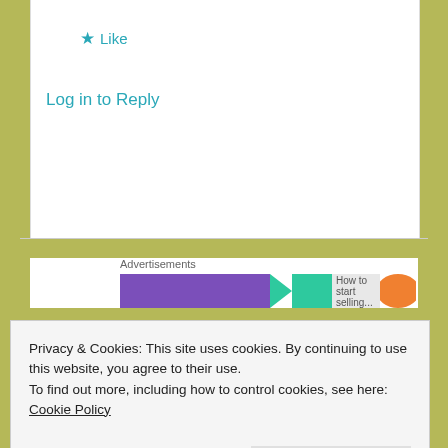★ Like
Log in to Reply
[Figure (screenshot): Partial advertisement banner with purple bar, teal arrow, gray area with text 'How to start selling...' and orange blob]
Advertisements
LENSANDPENSBYSALLY
Privacy & Cookies: This site uses cookies. By continuing to use this website, you agree to their use.
To find out more, including how to control cookies, see here: Cookie Policy
Close and accept
Liked by 1 person